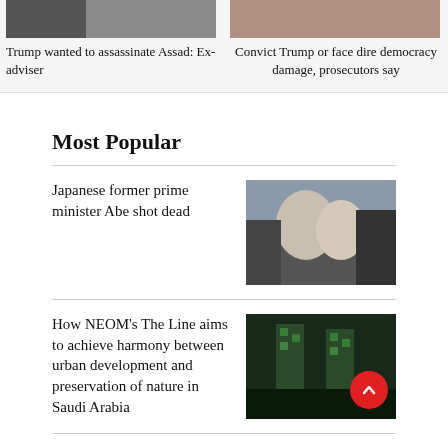[Figure (photo): News article photo - Trump and Assad related image]
Trump wanted to assassinate Assad: Ex-adviser
[Figure (photo): News article photo - Trump trial related image]
Convict Trump or face dire democracy damage, prosecutors say
Most Popular
Japanese former prime minister Abe shot dead
[Figure (photo): Photo of people gathered around Abe after shooting]
How NEOM's The Line aims to achieve harmony between urban development and preservation of nature in Saudi Arabia
[Figure (photo): Photo of NEOM The Line architectural visualization with green towers]